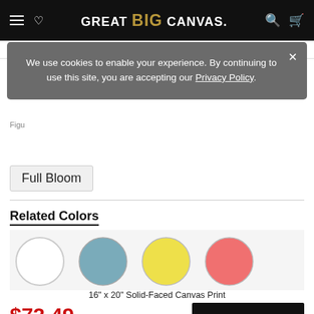GREAT BIG CANVAS.
Vases and Gifts   Art   Contemporary Art
We use cookies to enable your experience. By continuing to use this site, you are accepting our Privacy Policy.
Full Bloom
Related Colors
[Figure (illustration): Four color swatches as circles: white, steel blue, yellow, coral/salmon]
16" x 20" Solid-Faced Canvas Print
$72.49  $144.99  50% OFF - Ends Soon!